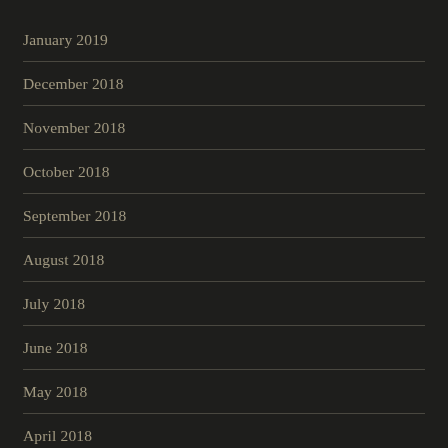January 2019
December 2018
November 2018
October 2018
September 2018
August 2018
July 2018
June 2018
May 2018
April 2018
March 2018